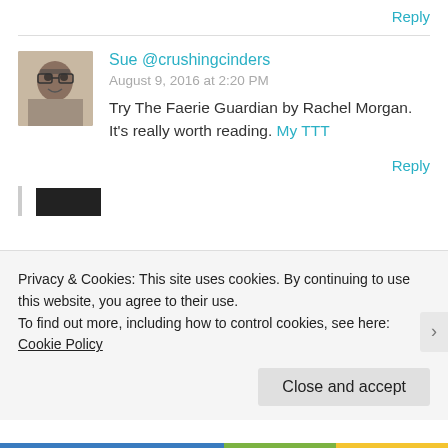Reply
Sue @crushingcinders
August 9, 2016 at 2:20 PM
Try The Faerie Guardian by Rachel Morgan. It's really worth reading. My TTT
Reply
Privacy & Cookies: This site uses cookies. By continuing to use this website, you agree to their use.
To find out more, including how to control cookies, see here: Cookie Policy
Close and accept